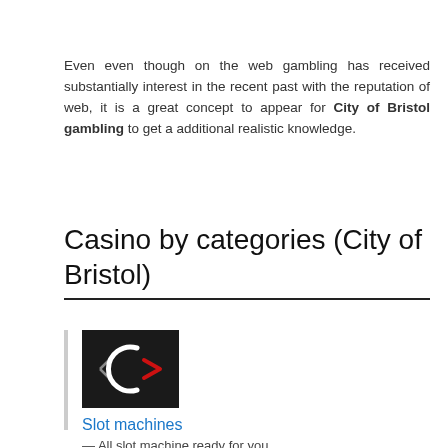Even even though on the web gambling has received substantially interest in the recent past with the reputation of web, it is a great concept to appear for City of Bristol gambling to get a additional realistic knowledge.
Casino by categories (City of Bristol)
[Figure (logo): Dark square logo with a stylized C-shape and arrow in red/white on black background]
Slot machines
— All slot machine ready for you